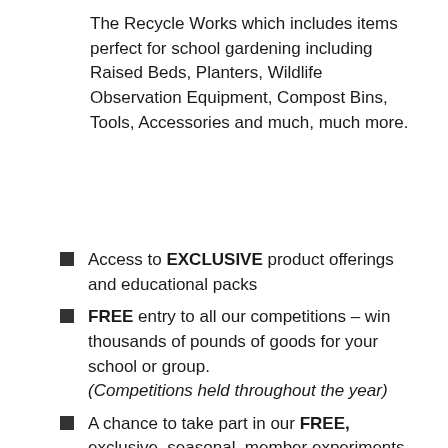The Recycle Works which includes items perfect for school gardening including Raised Beds, Planters, Wildlife Observation Equipment, Compost Bins, Tools, Accessories and much, much more.
Access to EXCLUSIVE product offerings and educational packs
FREE entry to all our competitions – win thousands of pounds of goods for your school or group. (Competitions held throughout the year)
A chance to take part in our FREE, exclusive, seasonal, member experiments.